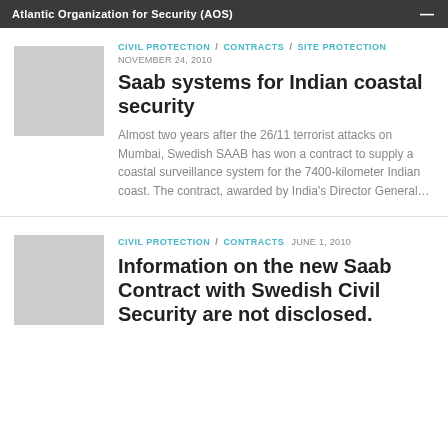Atlantic Organization for Security (AOS)
CIVIL PROTECTION / CONTRACTS / SITE PROTECTION
NOVEMBER 24, 2010
Saab systems for Indian coastal security
Almost two years after the 26/11 terrorist attacks on Mumbai, Swedish SAAB has won a contract to supply a coastal surveillance system for the 7400-kilometer Indian coast. The contract, awarded by India's Director General…
CIVIL PROTECTION / CONTRACTS
JUNE 1, 2010
Information on the new Saab Contract with Swedish Civil Security are not disclosed.